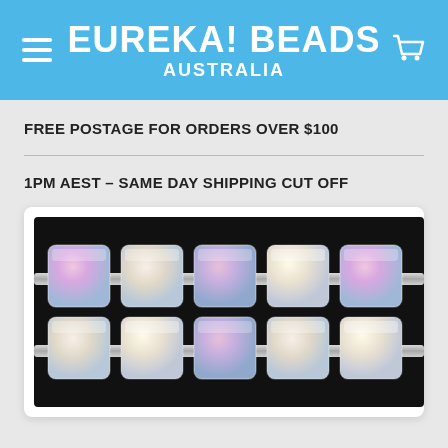EUREKA! BEADS AUSTRALIA
FREE POSTAGE FOR ORDERS OVER $100
1PM AEST – SAME DAY SHIPPING CUT OFF
[Figure (photo): Close-up photo of crystal/glass cube beads strung together showing iridescent pink, blue, and clear sparkle colors against a black background, arranged in two rows]